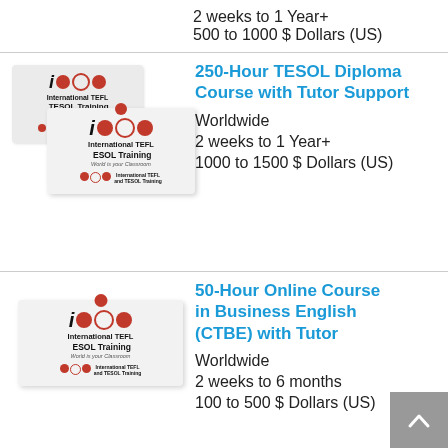2 weeks to 1 Year+
500 to 1000 $ Dollars (US)
250-Hour TESOL Diploma Course with Tutor Support
Worldwide
2 weeks to 1 Year+
1000 to 1500 $ Dollars (US)
[Figure (logo): International TEFL and TESOL Training logo on note-card background, two overlapping versions]
50-Hour Online Course in Business English (CTBE) with Tutor
Worldwide
2 weeks to 6 months
100 to 500 $ Dollars (US)
[Figure (logo): International TEFL and TESOL Training logo on note-card background]